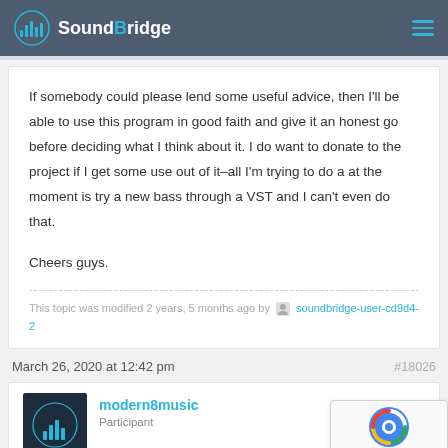SoundBridge
If somebody could please lend some useful advice, then I'll be able to use this program in good faith and give it an honest go before deciding what I think about it. I do want to donate to the project if I get some use out of it–all I'm trying to do a at the moment is try a new bass through a VST and I can't even do that.

Cheers guys.
This topic was modified 2 years, 5 months ago by soundbridge-user-cd9d4-2
March 26, 2020 at 12:42 pm
#18026
modern8music
Participant